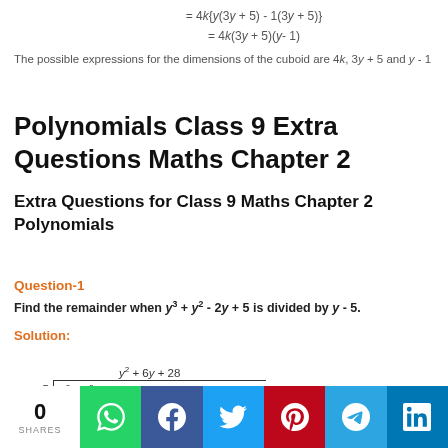The possible expressions for the dimensions of the cuboid are 4k, 3y + 5 and y - 1
Polynomials Class 9 Extra Questions Maths Chapter 2
Extra Questions for Class 9 Maths Chapter 2 Polynomials
Question-1
Find the remainder when y³ + y² - 2y + 5 is divided by y - 5.
Solution:
[Figure (math-figure): Long division of y³ + y² - 2y + 5 by y - 5, showing quotient y² + 6y + 28 with steps]